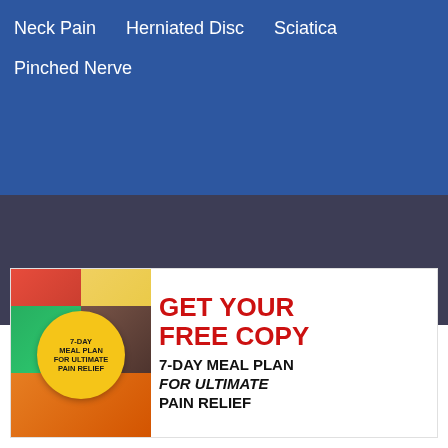Neck Pain
Herniated Disc
Sciatica
Pinched Nerve
[Figure (illustration): Book cover for 7-Day Meal Plan for Ultimate Pain Relief with food images and yellow badge]
GET YOUR FREE COPY 7-DAY MEAL PLAN FOR ULTIMATE PAIN RELIEF